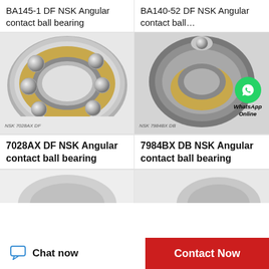BA145-1 DF NSK Angular contact ball bearing
BA140-52 DF NSK Angular contact ball...
[Figure (photo): NSK 7028AX DF angular contact ball bearing cross-section showing steel balls in gold/brass cage, silver races]
[Figure (photo): NSK 7984BX DB angular contact ball bearing cross-section with WhatsApp Online badge overlay]
7028AX DF NSK Angular contact ball bearing
7984BX DB NSK Angular contact ball bearing
[Figure (photo): Partial view of another NSK angular contact ball bearing (bottom, cropped)]
[Figure (photo): Partial view of another NSK angular contact ball bearing (bottom, cropped)]
Chat now
Contact Now